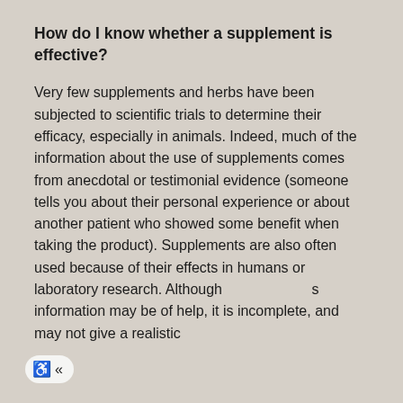How do I know whether a supplement is effective?
Very few supplements and herbs have been subjected to scientific trials to determine their efficacy, especially in animals. Indeed, much of the information about the use of supplements comes from anecdotal or testimonial evidence (someone tells you about their personal experience or about another patient who showed some benefit when taking the product). Supplements are also often used because of their effects in humans or laboratory research. Although this information may be of help, it is incomplete, and may not give a realistic